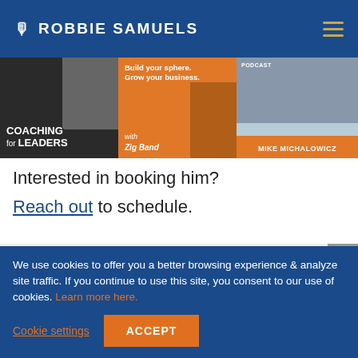ROBBIE SAMUELS
[Figure (screenshot): Three podcast cover images side by side: 'Coaching for Leaders', a Build Your Sphere/Grow Your Business podcast with Zig, and Mike Michalowicz podcast]
Interested in booking him?
Reach out to schedule.
Featured & Quoted
We use cookies to offer you a better browsing experience & analyze site traffic. If you continue to use this site, you consent to our use of cookies. Learn more here.